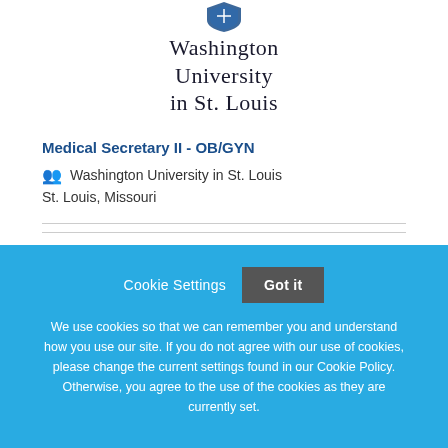[Figure (logo): Washington University in St. Louis shield logo with university name text]
Medical Secretary II - OB/GYN
Washington University in St. Louis
St. Louis, Missouri
Cookie Settings  Got it
We use cookies so that we can remember you and understand how you use our site. If you do not agree with our use of cookies, please change the current settings found in our Cookie Policy. Otherwise, you agree to the use of the cookies as they are currently set.